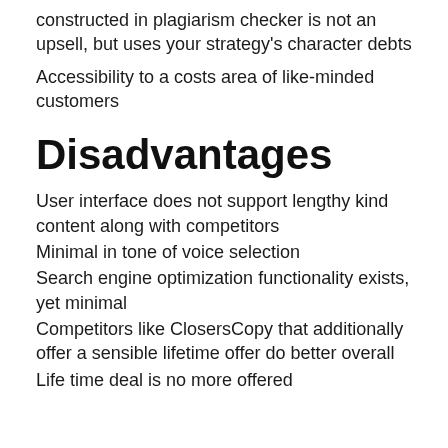constructed in plagiarism checker is not an upsell, but uses your strategy's character debts
Accessibility to a costs area of like-minded customers
Disadvantages
User interface does not support lengthy kind content along with competitors
Minimal in tone of voice selection
Search engine optimization functionality exists, yet minimal
Competitors like ClosersCopy that additionally offer a sensible lifetime offer do better overall
Life time deal is no more offered